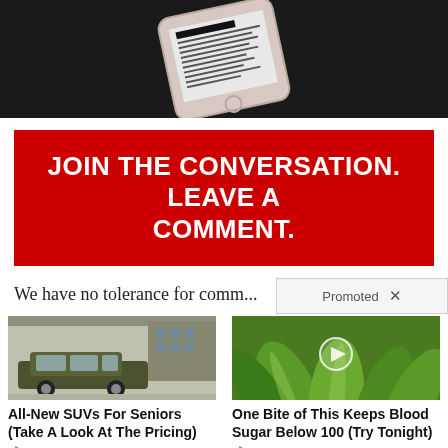[Figure (photo): Smartphone showing a news/media themed screen, on dark background]
JOIN THE CONVERSATION. LEAVE A COMMENT.
We have no tolerance for comp...
Promoted ×
[Figure (photo): All-New SUV for seniors - dark green SUV side profile]
All-New SUVs For Seniors (Take A Look At The Pricing)
4,594
[Figure (photo): Close-up of green plant/aloe vera food with play button overlay]
One Bite of This Keeps Blood Sugar Below 100 (Try Tonight)
10,569